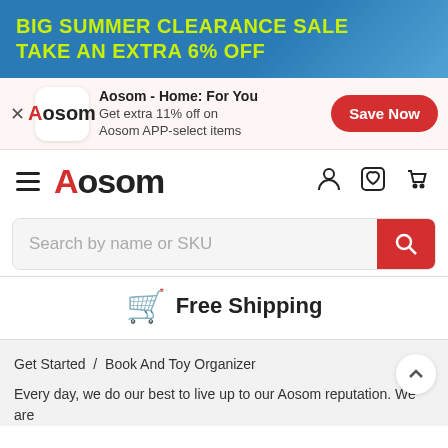[Figure (screenshot): Blue banner with lime green text: BIG SUMMER CLEARANCE SALE TAKE AN EXTRA 6% OFF]
[Figure (screenshot): App promo bar with Aosom logo, text 'Aosom - Home: For You / Get extra 11% off on Aosom APP-select items', and a red 'Save Now' button]
[Figure (screenshot): Navigation bar with hamburger menu, Aosom red logo, user/wishlist/cart icons]
[Figure (screenshot): Search bar with placeholder 'Search by name or SKU' and red search button]
Free Shipping
Get Started  /  Book And Toy Organizer
Every day, we do our best to live up to our Aosom reputation. We are